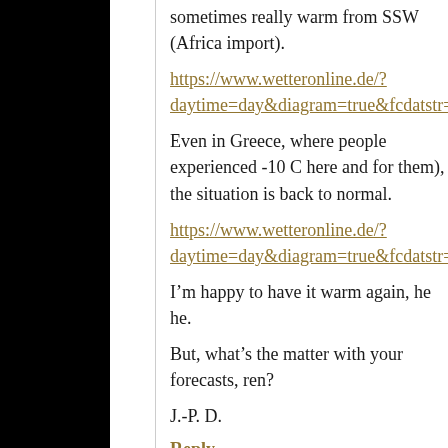sometimes really warm from SSW (Africa import).
https://www.wetteronline.de/?daytime=day&diagram=true&fcdatstr=20210220&iid=eur
Even in Greece, where people experienced -10 C here and for them), the situation is back to normal.
https://www.wetteronline.de/?daytime=day&diagram=true&fcdatstr=20210220&iid=GR
I’m happy to have it warm again, he he.
But, what’s the matter with your forecasts, ren?
J.-P. D.
Reply
Swenson says:
February 19, 2021 at 11:33 PM
Binny,